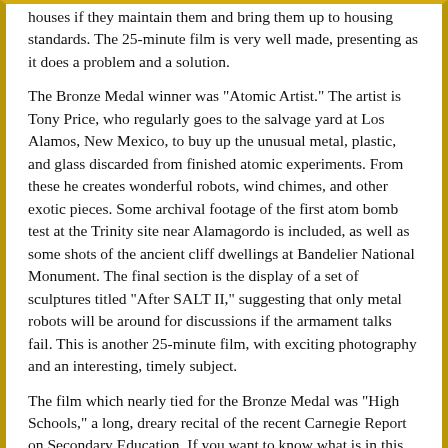houses if they maintain them and bring them up to housing standards. The 25-minute film is very well made, presenting as it does a problem and a solution.
The Bronze Medal winner was "Atomic Artist." The artist is Tony Price, who regularly goes to the salvage yard at Los Alamos, New Mexico, to buy up the unusual metal, plastic, and glass discarded from finished atomic experiments. From these he creates wonderful robots, wind chimes, and other exotic pieces. Some archival footage of the first atom bomb test at the Trinity site near Alamagordo is included, as well as some shots of the ancient cliff dwellings at Bandelier National Monument. The final section is the display of a set of sculptures titled "After SALT II," suggesting that only metal robots will be around for discussions if the armament talks fail. This is another 25-minute film, with exciting photography and an interesting, timely subject.
The film which nearly tied for the Bronze Medal was "High Schools," a long, dreary recital of the recent Carnegie Report on Secondary Education. If you want to know what is in this report, I suggest you get it and read it, not find out about it from this film, which I found dull and uninspired, and poorly edited to boot. It could have made the point in half the time.
As the most of the other films which also ran...